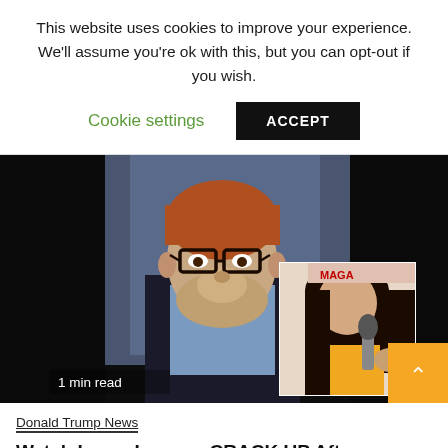This website uses cookies to improve your experience. We'll assume you're ok with this, but you can opt-out if you wish.
Cookie settings
ACCEPT
[Figure (photo): A composite image showing a heavyset middle-aged man with red hair, beard, and glasses in a suit in the background, and in the foreground an overlaid smaller photo of a dark-haired woman in a yellow jacket holding a microphone. A sign partially visible in background appears to reference 'MAGA' or similar political branding.]
1 min read
Donald Trump News
Watch Laura Loomer CRACK UP After Election